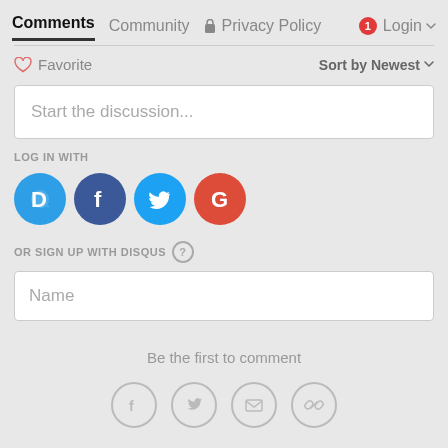Comments  Community  Privacy Policy  Login
Favorite   Sort by Newest
Start the discussion...
LOG IN WITH
[Figure (logo): Social login buttons: Disqus (blue D), Facebook (dark blue f), Twitter (light blue bird), Google (red G)]
OR SIGN UP WITH DISQUS ?
Name
Be the first to comment
[Figure (infographic): Bottom share icons: Facebook, Twitter, Email, Link]